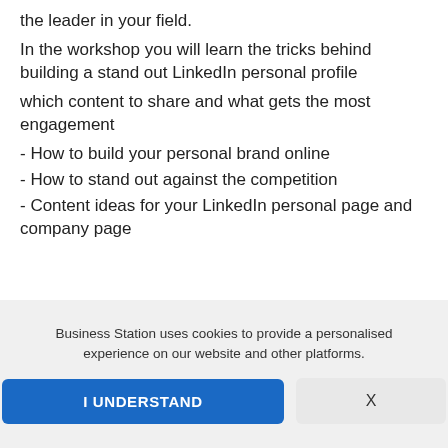the leader in your field.
In the workshop you will learn the tricks behind building a stand out LinkedIn personal profile
which content to share and what gets the most engagement
- How to build your personal brand online
- How to stand out against the competition
- Content ideas for your LinkedIn personal page and company page
Business Station uses cookies to provide a personalised experience on our website and other platforms.
I UNDERSTAND
X